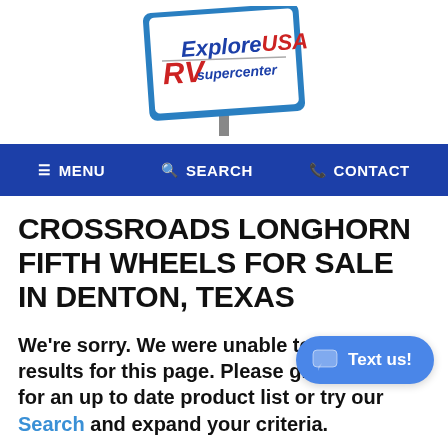[Figure (logo): ExploreUSA RV Supercenter logo on a blue sign billboard]
≡ MENU   🔍 SEARCH   📞 CONTACT
CROSSROADS LONGHORN FIFTH WHEELS FOR SALE IN DENTON, TEXAS
We're sorry. We were unable to find any results for this page. Please give us a call for an up to date product list or try our Search and expand your criteria.